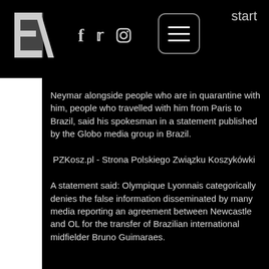EA logo | f | twitter | instagram | menu | start
Neymar alongside people who are in quarantine with him, people who travelled with him from Paris to Brazil, said his spokesman in a statement published by the Globo media group in Brazil.
PZKosz.pl - Strona Polskiego Związku Koszykówki
A statement said: Olympique Lyonnais categorically denies the false information disseminated by many media reporting an agreement between Newcastle and OL for the transfer of Brazilian international midfielder Bruno Guimaraes.